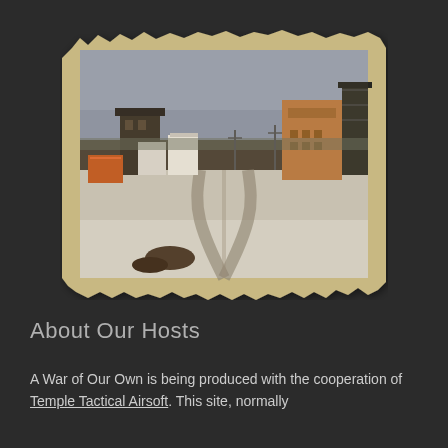[Figure (photo): A snowy airsoft field with a dirt road winding between wooden structures and barriers. A burned/rusted tower on the left, wooden shed buildings on the right, overcast sky. Photo is framed by a torn aged paper/parchment border with ragged edges.]
About Our Hosts
A War of Our Own is being produced with the cooperation of Temple Tactical Airsoft. This site, normally used for war games, the players and crew will be in store for a real base.